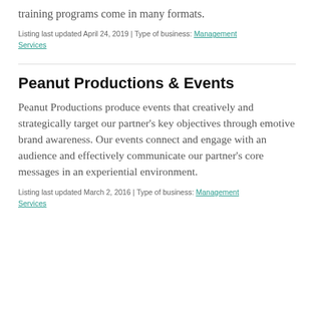training programs come in many formats.
Listing last updated April 24, 2019 | Type of business: Management Services
Peanut Productions & Events
Peanut Productions produce events that creatively and strategically target our partner's key objectives through emotive brand awareness. Our events connect and engage with an audience and effectively communicate our partner's core messages in an experiential environment.
Listing last updated March 2, 2016 | Type of business: Management Services